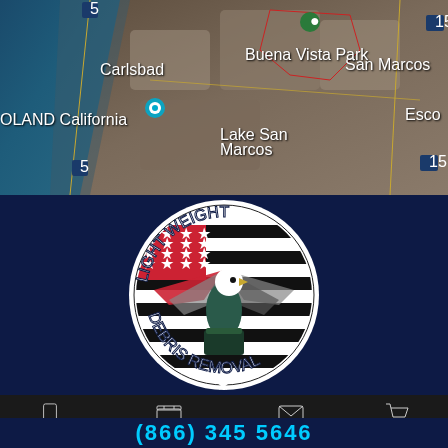[Figure (map): Satellite aerial map view of coastal Southern California showing Carlsbad, San Marcos, Lake San Marcos, Buena Vista Park, Escondido area with highway 5 and 15 markers and a map pin for OLAND California]
[Figure (logo): Light Weight Debris Removal company logo featuring a bald eagle with American flag wings holding a dumpster, circular badge design with stars, text reading LIGHT WEIGHT DEBRIS REMOVAL]
[Figure (other): Bottom navigation bar with Call, Dumpsters, Email, Cart icons and phone number (866) 345 5646]